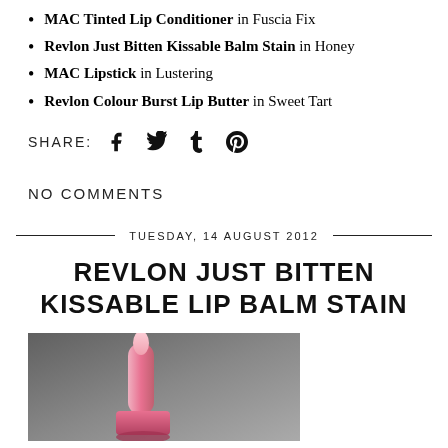MAC Tinted Lip Conditioner in Fuscia Fix
Revlon Just Bitten Kissable Balm Stain in Honey
MAC Lipstick in Lustering
Revlon Colour Burst Lip Butter in Sweet Tart
SHARE:
NO COMMENTS
TUESDAY, 14 AUGUST 2012
REVLON JUST BITTEN KISSABLE LIP BALM STAIN
[Figure (photo): Photo of a pink Revlon Just Bitten Kissable Lip Balm Stain product pencil/stick against a gray background, with the cap off showing the tip and the product body.]